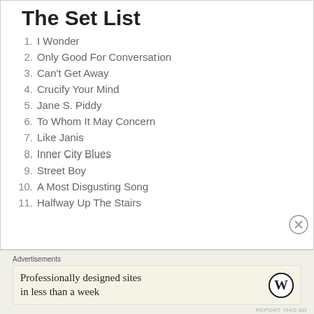The Set List
1. I Wonder
2. Only Good For Conversation
3. Can't Get Away
4. Crucify Your Mind
5. Jane S. Piddy
6. To Whom It May Concern
7. Like Janis
8. Inner City Blues
9. Street Boy
10. A Most Disgusting Song
11. Halfway Up The Stairs
Advertisements
Professionally designed sites in less than a week